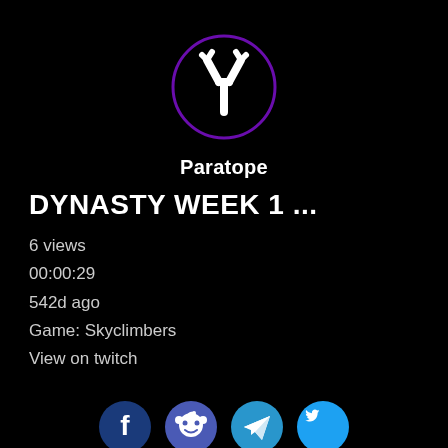[Figure (logo): Paratope logo: white antibody Y-shape icon inside a purple circle on black background]
Paratope
DYNASTY WEEK 1 ...
6 views
00:00:29
542d ago
Game: Skyclimbers
View on twitch
[Figure (infographic): Row of four social share icon buttons: Facebook (dark blue), Reddit (purple-blue), Telegram (blue), Twitter (light blue)]
Share this video